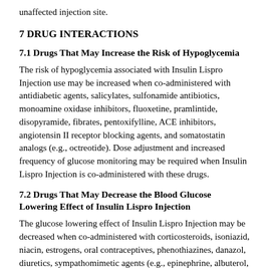unaffected injection site.
7 DRUG INTERACTIONS
7.1 Drugs That May Increase the Risk of Hypoglycemia
The risk of hypoglycemia associated with Insulin Lispro Injection use may be increased when co-administered with antidiabetic agents, salicylates, sulfonamide antibiotics, monoamine oxidase inhibitors, fluoxetine, pramlintide, disopyramide, fibrates, pentoxifylline, ACE inhibitors, angiotensin II receptor blocking agents, and somatostatin analogs (e.g., octreotide). Dose adjustment and increased frequency of glucose monitoring may be required when Insulin Lispro Injection is co-administered with these drugs.
7.2 Drugs That May Decrease the Blood Glucose Lowering Effect of Insulin Lispro Injection
The glucose lowering effect of Insulin Lispro Injection may be decreased when co-administered with corticosteroids, isoniazid, niacin, estrogens, oral contraceptives, phenothiazines, danazol, diuretics, sympathomimetic agents (e.g., epinephrine, albuterol, terbutaline), somatropin, atypical antipsychotics, glucagon, protease inhibitors, and thyroid hormones. Dose adjustment and increased frequency of glucose monitoring may be required